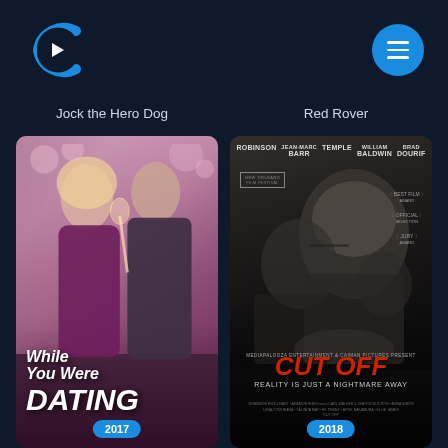[Figure (logo): Cinemabox/Cflix streaming service logo - stylized C with blue gradient and white play triangle]
[Figure (other): Hamburger menu button - blue circle with three white horizontal lines]
Jock the Hero Dog
Red Rover
[Figure (photo): Movie poster for 'While You Were Dating' (2017) - romantic comedy with blonde woman and man in suit holding champagne, pink roses background]
[Figure (photo): Movie poster for 'Cut Off' (2018) - dark thriller with tagline 'REALITY IS JUST A NIGHTMARE AWAY', actors Robinson, Barr, Temple, Baldwin, Dourif]